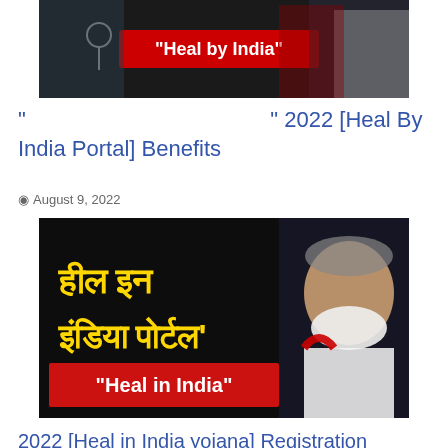[Figure (photo): Dark banner image with 'Heal by India' text on red background, with doctors/medical theme and a figure in red and black jacket on the right]
" 2022 [Heal By India Portal] Benefits
August 9, 2022
[Figure (photo): Dark background image with Hindi text 'हील इन इंडिया पोर्टल' in yellow and 'Heal in India' in white on red banner, with Narendra Modi photo on the right]
2022 [Heal in India yojana] Registration